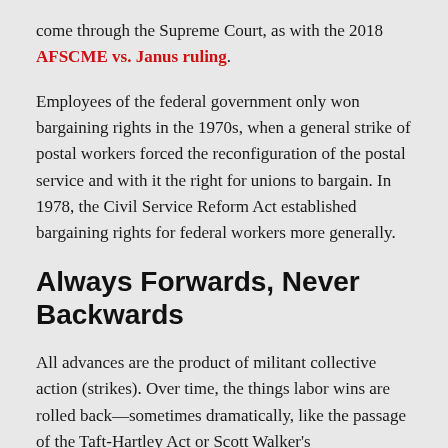come through the Supreme Court, as with the 2018 AFSCME vs. Janus ruling.
Employees of the federal government only won bargaining rights in the 1970s, when a general strike of postal workers forced the reconfiguration of the postal service and with it the right for unions to bargain. In 1978, the Civil Service Reform Act established bargaining rights for federal workers more generally.
Always Forwards, Never Backwards
All advances are the product of militant collective action (strikes). Over time, the things labor wins are rolled back—sometimes dramatically, like the passage of the Taft-Hartley Act or Scott Walker's